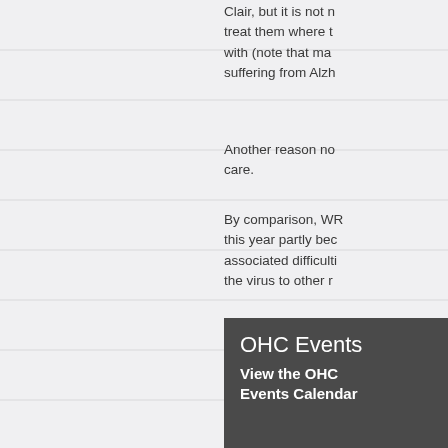Clair, but it is not necessary to treat them where they come with (note that many are suffering from Alzh
Another reason no care.
By comparison, WR this year partly because associated difficulties the virus to other r
In the case of Villag the care to the resi
Click here for origin
OHC Events
View the OHC Events Calendar